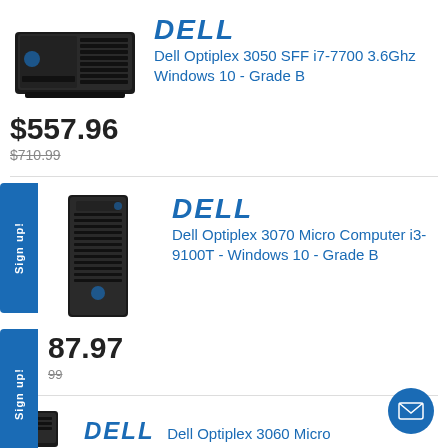[Figure (photo): Dell Optiplex 3050 SFF desktop computer, black, front-angled view]
DELL Dell Optiplex 3050 SFF i7-7700 3.6Ghz Windows 10 - Grade B
$557.96
$710.99
[Figure (photo): Dell Optiplex 3070 Micro desktop computer, black, front view]
DELL Dell Optiplex 3070 Micro Computer i3-9100T - Windows 10 - Grade B
87.97
99
[Figure (photo): Dell Optiplex 3060 Micro desktop computer, partially visible]
DELL Dell Optiplex 3060 Micro